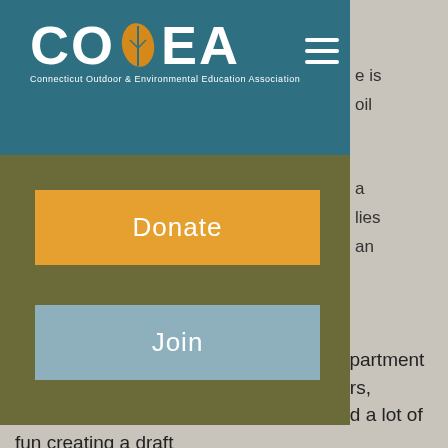[Figure (logo): COEEA Connecticut Outdoor & Environmental Education Association logo in white on teal background]
Donate
Join
[Figure (photo): Blurred group photo of four people standing together indoors, likely instructors or educators]
Update: The Common Ground Farm Department and Nature Year and Field Trip instructors, Melissa Gibbons and Cjet Raymond, had a lot of fun creating a draft